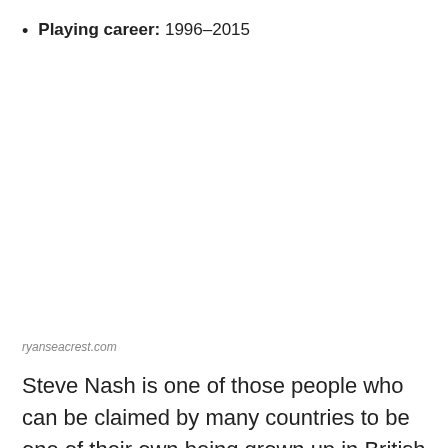Playing career: 1996–2015
ryanseacrest.com
Steve Nash is one of those people who can be claimed by many countries to be one of their own being grown up in British Columbia, Canada and his